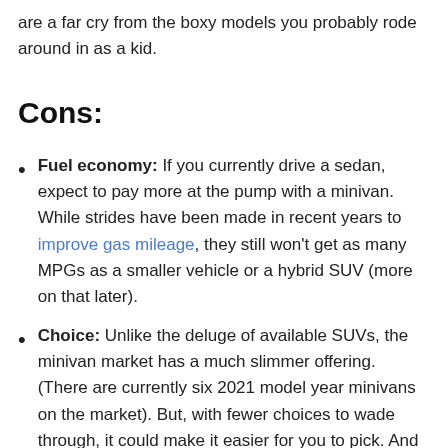are a far cry from the boxy models you probably rode around in as a kid.
Cons:
Fuel economy: If you currently drive a sedan, expect to pay more at the pump with a minivan. While strides have been made in recent years to improve gas mileage, they still won't get as many MPGs as a smaller vehicle or a hybrid SUV (more on that later).
Choice: Unlike the deluge of available SUVs, the minivan market has a much slimmer offering. (There are currently six 2021 model year minivans on the market). But, with fewer choices to wade through, it could make it easier for you to pick. And remember